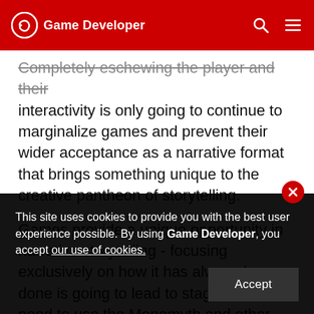Game Developer
Completely eschewing the player and their interactivity is only going to continue to marginalize games and prevent their wider acceptance as a narrative format that brings something unique to the creative pantheon of storytelling.
Games provide a unique opportunity in narrative storytelling - focusing exclusively on how it has always been done is going to lead to stagnation. We need to use the Monomyth and other classic storytelling tropes as the springboard to find our unique voice, not as the albatross around our neck.
This site uses cookies to provide you with the best user experience possible. By using Game Developer, you accept our use of cookies.
Accept